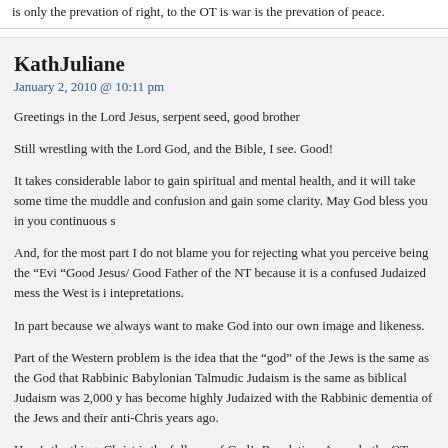is only the prevation of right, to the OT is war is the prevation of peace.
KathJuliane
January 2, 2010 @ 10:11 pm
Greetings in the Lord Jesus, serpent seed, good brother
Still wrestling with the Lord God, and the Bible, I see. Good!
It takes considerable labor to gain spiritual and mental health, and it will take some time the muddle and confusion and gain some clarity. May God bless you in you continuous s
And, for the most part I do not blame you for rejecting what you perceive being the “Evi “Good Jesus/ Good Father of the NT because it is a confused Judaized mess the West is i intepretations.
In part because we always want to make God into our own image and likeness.
Part of the Western problem is the idea that the “god” of the Jews is the same as the God that Rabbinic Babylonian Talmudic Judaism is the same as biblical Judaism was 2,000 y has become highly Judaized with the Rabbinic dementia of the Jews and their anti-Chris years ago.
Here’s the thing. Christ is the fullness of God’s Revelation. As such, the OT, which as “s revelation spans a written spirtual history of more than 2,000 years, and so must be inter Christ of the New Testament.